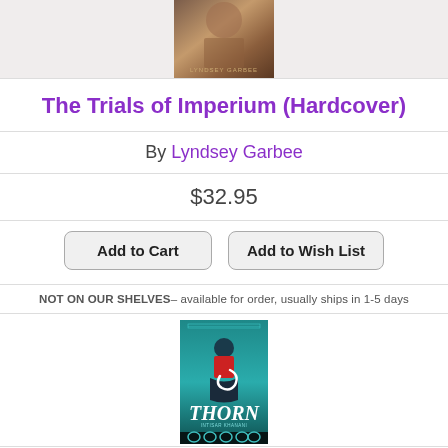[Figure (photo): Top portion of a book cover showing a figure, attributed to Lyndsey Garbee]
The Trials of Imperium (Hardcover)
By Lyndsey Garbee
$32.95
Add to Cart   Add to Wish List
NOT ON OUR SHELVES– available for order, usually ships in 1-5 days
[Figure (photo): Book cover for Thorn by Intisar Khanani, teal colored cover with a figure and architectural elements]
Thorn (Paperback) (Hardcover)